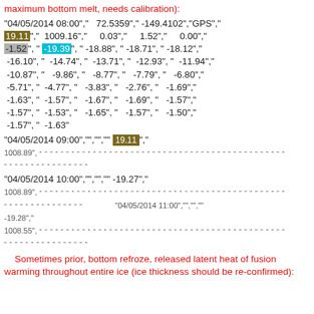maximum bottom melt, needs calibration):
"04/05/2014 08:00","  72.5359"," -149.4102","GPS"," [19.11]","  1009.16","     0.03","     1.52","     0.00"," -1.52"," -19.39","  -18.88","  -18.71","  -18.12"," -16.10","  -14.74","  -13.71","  -12.93","  -11.94"," -10.87","   -9.86","   -8.77","   -7.79","   -6.80"," -5.71","  -4.77","   -3.83","   -2.76","   -1.69"," -1.63","  -1.57","   -1.67","   -1.69","   -1.57"," -1.57","  -1.53","   -1.65","   -1.57","   -1.50"," -1.57","  -1.63"
"04/05/2014 09:00","","","" [19.11]"," 1008.89","","","","","","","","","","","","","","","","","","","",""
"04/05/2014 10:00","",""," -19.27"," 1008.89","","","","","","","","","","","","","","","","",""
"04/05/2014 11:00","",""," -19.28"," 1008.55","","","","","","","","","","","","","","","",""
Sometimes prior, bottom refroze, released latent heat of fusion warming throughout entire ice (ice thickness should be re-confirmed):